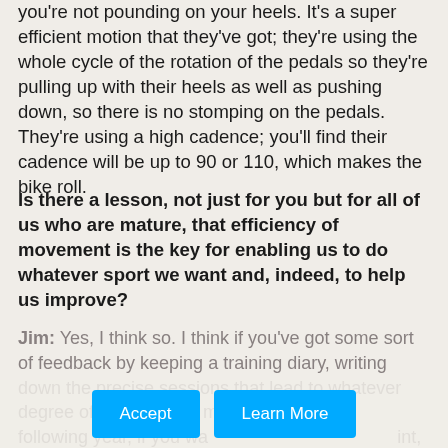you're not pounding on your heels. It's a super efficient motion that they've got; they're using the whole cycle of the rotation of the pedals so they're pulling up with their heels as well as pushing down, so there is no stomping on the pedals. They're using a high cadence; you'll find their cadence will be up to 90 or 110, which makes the bike roll.
Is there a lesson, not just for you but for all of us who are mature, that efficiency of movement is the key for enabling us to do whatever sport we want and, indeed, to help us improve?
Jim: Yes, I think so. I think if you've got some sort of feedback by keeping a training diary, writing down the precise sessions that lead to whatever degree of success you may have achieved the following year, if you want to improve on that point, you look at what you were doing then, and you look